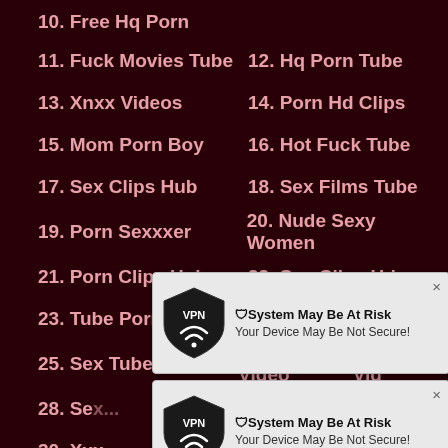10. Free Hq Porn
11. Fuck Movies Tube   12. Hq Porn Tube
13. Xnxx Videos   14. Porn Hd Clips
15. Mom Porn Boy   16. Hot Fuck Tube
17. Sex Clips Hub   18. Sex Films Tube
19. Porn Sexxxer   20. Nude Sexy Women
21. Porn Clips Hub   22. Sex Clips Hd
23. Tube Porn Hot   24. Free Xxx Videos
25. Sex Tube Hub   26. Porn Video   27. Fap Vid
28. Se...   [popup]
30. Xxx...
31. Cut...
33. All Sex Hub   34. Xxx Hd Tube
35. Adu...   [popup]
37. Por...
39. Sex Tube Clips   40. Modern Porn Hd
[Figure (screenshot): Two VPN security alert popups overlapping the list, each showing a shield VPN logo and text 'System May Be At Risk - Your Device May Be Not Secure!']